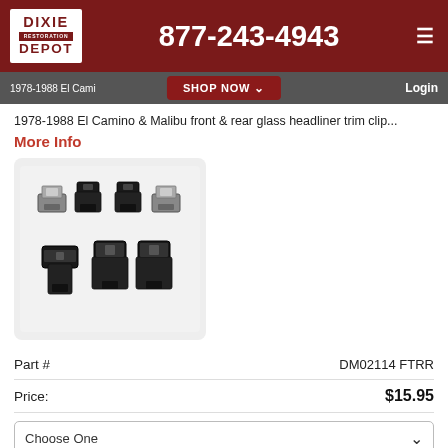Dixie Restoration Depot — 877-243-4943
1978-1988 El Camino, Malibu front & rear glass headliner trim clip...
More Info
[Figure (photo): Product photo of black plastic headliner trim clips (7 clips shown on white background)]
| Part # | DM02114 FTRR |
| --- | --- |
| Price: | $15.95 |
Choose One
Click Here To Order